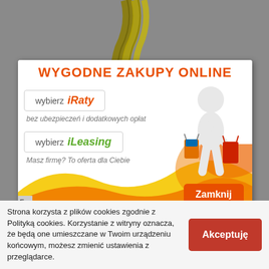[Figure (screenshot): Lanyard/strap object on grey background at top of page]
[Figure (infographic): Promotional popup overlay with orange and yellow wave design. Title: WYGODNE ZAKUPY ONLINE. Two option buttons: 'wybierz iRaty' with text 'bez ubezpieczen i dodatkowych oplat' and 'wybierz iLeasing' with text 'Masz firme? To oferta dla Ciebie'. A 3D white figure carrying shopping bags on the right. Orange 'Zamknij' close button at bottom right.]
Strona korzysta z plików cookies zgodnie z Polityką cookies. Korzystanie z witryny oznacza, że będą one umieszczane w Twoim urządzeniu końcowym, możesz zmienić ustawienia z przeglądarce.